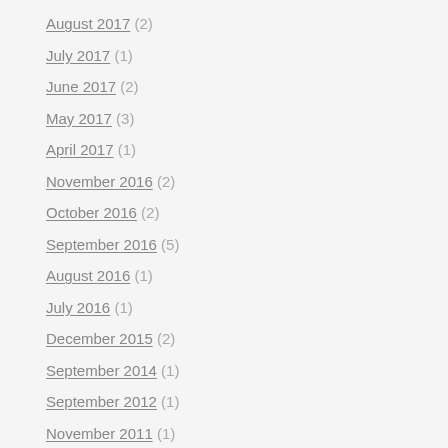August 2017 (2)
July 2017 (1)
June 2017 (2)
May 2017 (3)
April 2017 (1)
November 2016 (2)
October 2016 (2)
September 2016 (5)
August 2016 (1)
July 2016 (1)
December 2015 (2)
September 2014 (1)
September 2012 (1)
November 2011 (1)